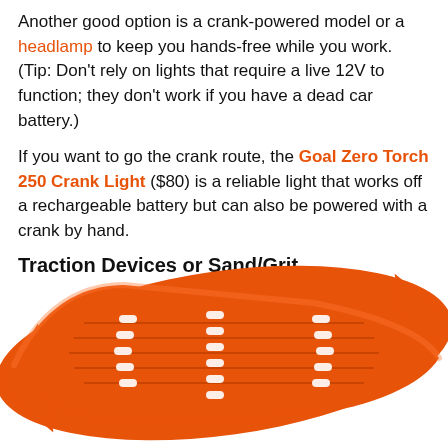Another good option is a crank-powered model or a headlamp to keep you hands-free while you work. (Tip: Don’t rely on lights that require a live 12V to function; they don’t work if you have a dead car battery.)
If you want to go the crank route, the Goal Zero Torch 250 Crank Light ($80) is a reliable light that works off a rechargeable battery but can also be powered with a crank by hand.
Traction Devices or Sand/Grit
[Figure (photo): An orange plastic traction board / recovery track with a textured surface and slot holes, shown diagonally against a white background.]